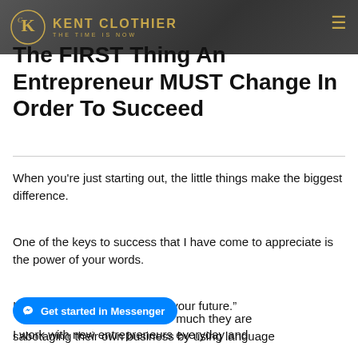KENT CLOTHIER — THE TIME IS NOW
The FIRST Thing An Entrepreneur MUST Change In Order To Succeed
When you're just starting out, the little things make the biggest difference.
One of the keys to success that I have come to appreciate is the power of your words.
I say it quite often "you speak your future."
I work with new entrepreneurs everyday and much they are sabotaging their own business by using language that is self-limiting…